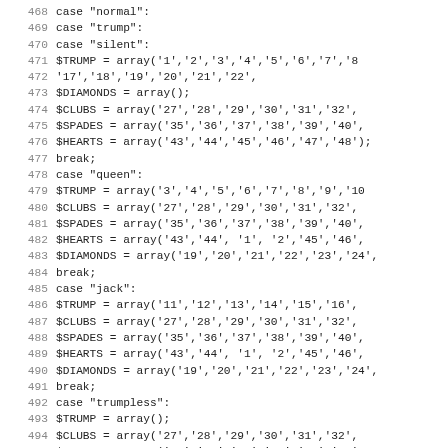Source code listing lines 468-499, PHP switch/case code for card game trump modes
468: case "normal":
469: case "trump":
470: case "silent":
471:   $TRUMP    = array('1','2','3','4','5','6','7','8'
472:                       '17','18','19','20','21','22',
473:   $DIAMONDS = array();
474:   $CLUBS    = array('27','28','29','30','31','32',
475:   $SPADES   = array('35','36','37','38','39','40',
476:   $HEARTS   = array('43','44','45','46','47','48');
477:   break;
478: case "queen":
479:   $TRUMP    = array('3','4','5','6','7','8','9','10
480:   $CLUBS    = array('27','28','29','30','31','32',
481:   $SPADES   = array('35','36','37','38','39','40',
482:   $HEARTS   = array('43','44', '1', '2','45','46',
483:   $DIAMONDS = array('19','20','21','22','23','24',
484:   break;
485: case "jack":
486:   $TRUMP    = array('11','12','13','14','15','16',
487:   $CLUBS    = array('27','28','29','30','31','32',
488:   $SPADES   = array('35','36','37','38','39','40',
489:   $HEARTS   = array('43','44', '1', '2','45','46',
490:   $DIAMONDS = array('19','20','21','22','23','24',
491:   break;
492: case "trumpless":
493:   $TRUMP    = array();
494:   $CLUBS    = array('27','28','29','30','31','32',
495:   $SPADES   = array('35','36','37','38','39','40',
496:   $HEARTS   = array('43','44', '1', '2','45','46',
497:   $DIAMONDS = array('19','20','21','22','23','24',
498:   break;
499: case "club":